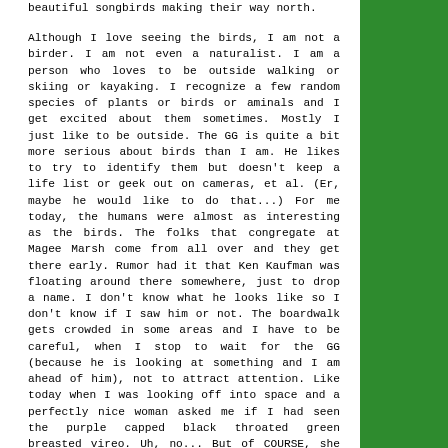beautiful songbirds making their way north.

Although I love seeing the birds, I am not a birder. I am not even a naturalist. I am a person who loves to be outside walking or skiing or kayaking. I recognize a few random species of plants or birds or aminals and I get excited about them sometimes. Mostly I just like to be outside. The GG is quite a bit more serious about birds than I am. He likes to try to identify them but doesn't keep a life list or geek out on cameras, et al. (Er, maybe he would like to do that...) For me today, the humans were almost as interesting as the birds. The folks that congregate at Magee Marsh come from all over and they get there early. Rumor had it that Ken Kaufman was floating around there somewhere, just to drop a name. I don't know what he looks like so I don't know if I saw him or not. The boardwalk gets crowded in some areas and I have to be careful, when I stop to wait for the GG (because he is looking at something and I am ahead of him), not to attract attention. Like today when I was looking off into space and a perfectly nice woman asked me if I had seen the purple capped black throated green breasted vireo. Uh, no... But of COURSE, she asked me because TRY to look like you're birding and...